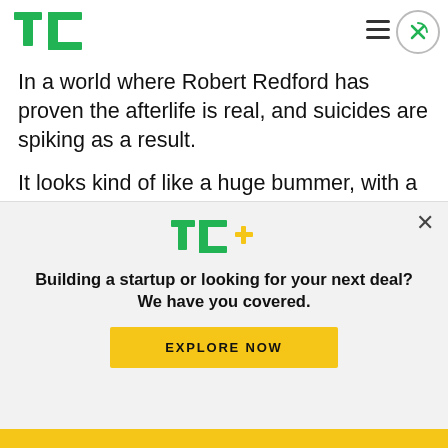[Figure (logo): TechCrunch TC green logo in the header]
In a world where Robert Redford has proven the afterlife is real, and suicides are spiking as a result.
It looks kind of like a huge bummer, with a gray palette and heavy emphasis on the corpses and what not, but I will watch it regardless because it is a science fiction film with some heavyweight talent behind it. Also, who am I kidding, I'll watch it
[Figure (logo): TechCrunch TC+ logo in modal overlay]
Building a startup or looking for your next deal? We have you covered.
EXPLORE NOW